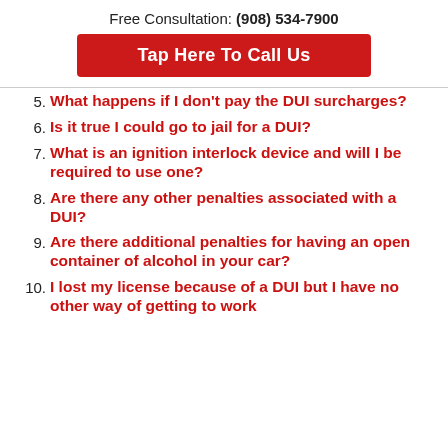Free Consultation: (908) 534-7900
Tap Here To Call Us
5. What happens if I don't pay the DUI surcharges?
6. Is it true I could go to jail for a DUI?
7. What is an ignition interlock device and will I be required to use one?
8. Are there any other penalties associated with a DUI?
9. Are there additional penalties for having an open container of alcohol in your car?
10. I lost my license because of a DUI but I have no other way of getting to work